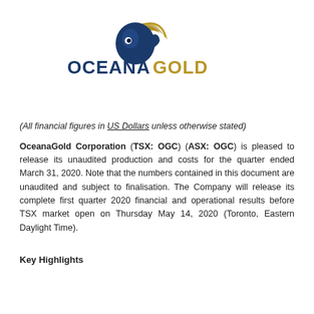[Figure (logo): OceanaGold Corporation logo with dark blue wave/fish mark and gold swoosh above the text 'OCEANA' in dark blue and 'GOLD' in gold/dark yellow]
(All financial figures in US Dollars unless otherwise stated)
OceanaGold Corporation (TSX: OGC) (ASX: OGC) is pleased to release its unaudited production and costs for the quarter ended March 31, 2020. Note that the numbers contained in this document are unaudited and subject to finalisation. The Company will release its complete first quarter 2020 financial and operational results before TSX market open on Thursday May 14, 2020 (Toronto, Eastern Daylight Time).
Key Highlights